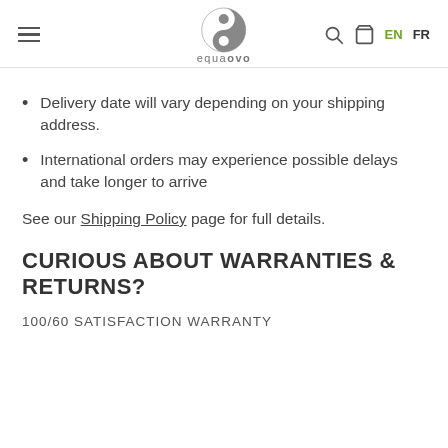equaovo — EN FR
Delivery date will vary depending on your shipping address.
International orders may experience possible delays and take longer to arrive
See our Shipping Policy page for full details.
CURIOUS ABOUT WARRANTIES & RETURNS?
100/60 SATISFACTION WARRANTY